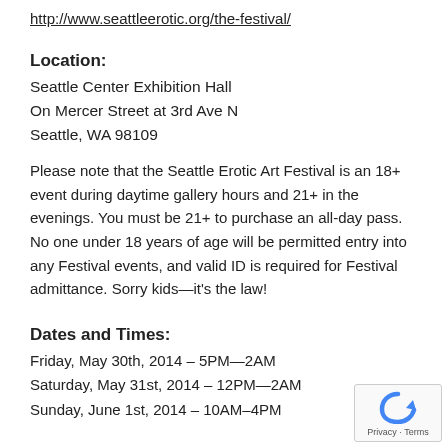http://www.seattleerotic.org/the-festival/
Location:
Seattle Center Exhibition Hall
On Mercer Street at 3rd Ave N
Seattle, WA 98109
Please note that the Seattle Erotic Art Festival is an 18+ event during daytime gallery hours and 21+ in the evenings. You must be 21+ to purchase an all-day pass. No one under 18 years of age will be permitted entry into any Festival events, and valid ID is required for Festival admittance. Sorry kids—it's the law!
Dates and Times:
Friday, May 30th, 2014 – 5PM—2AM
Saturday, May 31st, 2014 – 12PM—2AM
Sunday, June 1st, 2014 – 10AM–4PM